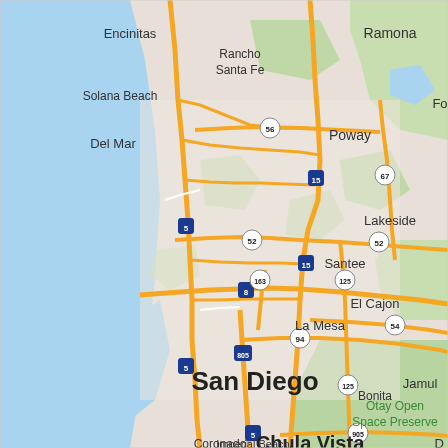[Figure (map): Google Maps style road map of San Diego County, California, showing cities including San Diego, Chula Vista, El Cajon, La Mesa, Santee, Lakeside, Coronado, Bonita, Imperial Beach, Del Mar, Solana Beach, Encinitas, Rancho Santa Fe, Poway, Ramona, and Jamul. Major highways shown include I-5, I-8, I-15, I-805, SR-52, SR-56, SR-94, SR-125, SR-163, SR-905, and SR-67. The Pacific Ocean is visible on the left side in blue. Otay Open Space Preserve is shown in green on the lower right.]